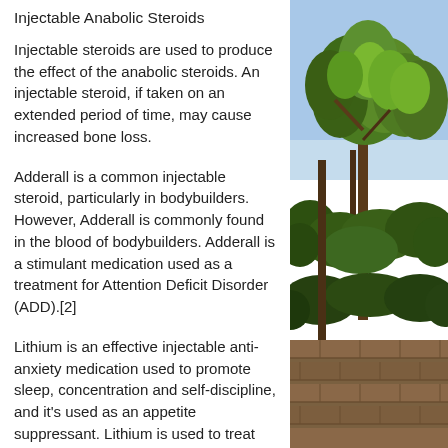Injectable Anabolic Steroids
Injectable steroids are used to produce the effect of the anabolic steroids. An injectable steroid, if taken on an extended period of time, may cause increased bone loss.
Adderall is a common injectable steroid, particularly in bodybuilders. However, Adderall is commonly found in the blood of bodybuilders. Adderall is a stimulant medication used as a treatment for Attention Deficit Disorder (ADD).[2]
Lithium is an effective injectable anti-anxiety medication used to promote sleep, concentration and self-discipline, and it's used as an appetite suppressant. Lithium is used to treat hypertension, as a blood thinner to prevent high blood pressure, and to treat the effects of certain cancers.
[Figure (photo): Outdoor garden scene with lush green trees, shrubs, and a brick pathway or border visible at the bottom right. The sky is bright blue and visible through the tree canopy.]